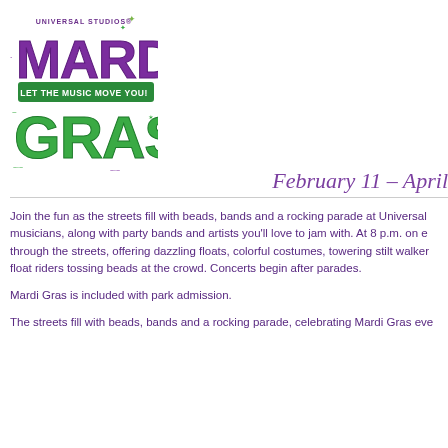[Figure (logo): Universal Studios Mardi Gras logo — 'LET THE MUSIC MOVE YOU!' with large stylized purple and green MARDI GRAS text]
February 11 – April
Join the fun as the streets fill with beads, bands and a rocking parade at Universal musicians, along with party bands and artists you'll love to jam with. At 8 p.m. on e through the streets, offering dazzling floats, colorful costumes, towering stilt walker float riders tossing beads at the crowd. Concerts begin after parades.
Mardi Gras is included with park admission.
The streets fill with beads, bands and a rocking parade, celebrating Mardi Gras eve